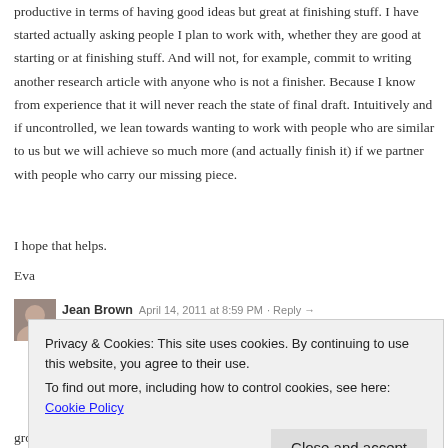productive in terms of having good ideas but great at finishing stuff. I have started actually asking people I plan to work with, whether they are good at starting or at finishing stuff. And will not, for example, commit to writing another research article with anyone who is not a finisher. Because I know from experience that it will never reach the state of final draft. Intuitively and if uncontrolled, we lean towards wanting to work with people who are similar to us but we will achieve so much more (and actually finish it) if we partner with people who carry our missing piece.
I hope that helps.
Eva
Jean Brown  April 14, 2011 at 8:59 PM · Reply →
Privacy & Cookies: This site uses cookies. By continuing to use this website, you agree to their use.
To find out more, including how to control cookies, see here: Cookie Policy
Close and accept
group of us! My friend Erin (down at 12:29pm) and I were